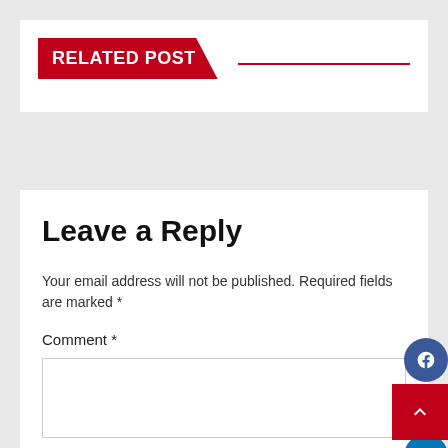RELATED POST
Leave a Reply
Your email address will not be published. Required fields are marked *
Comment *